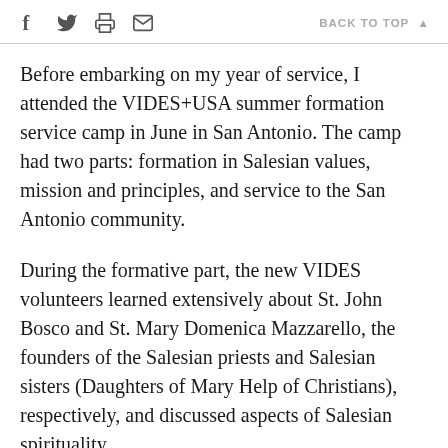f  [twitter]  [print]  [email]   BACK TO TOP ▲
Before embarking on my year of service, I attended the VIDES+USA summer formation service camp in June in San Antonio. The camp had two parts: formation in Salesian values, mission and principles, and service to the San Antonio community.
During the formative part, the new VIDES volunteers learned extensively about St. John Bosco and St. Mary Domenica Mazzarello, the founders of the Salesian priests and Salesian sisters (Daughters of Mary Help of Christians), respectively, and discussed aspects of Salesian spirituality.
During the service part, we volunteered at a local holding facility for unaccompanied undocumented